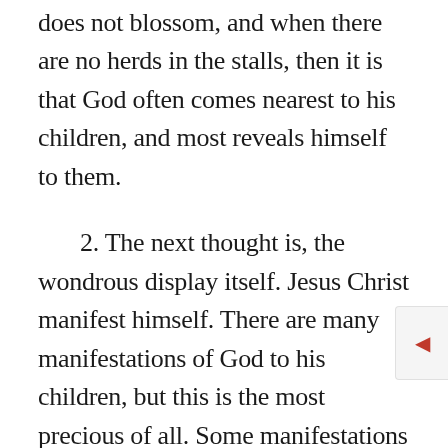does not blossom, and when there are no herds in the stalls, then it is that God often comes nearest to his children, and most reveals himself to them.
2. The next thought is, the wondrous display itself. Jesus Christ manifest himself. There are many manifestations of God to his children, but this is the most precious of all. Some manifestations we never wish to have again. We do not want to have that discovery which we had of our sinfulness, when first we were awakened: we will leave